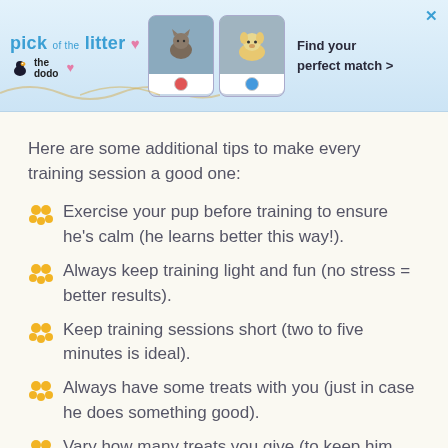[Figure (screenshot): Advertisement banner for 'pick of the litter' by The Dodo with pet photos and text 'Find your perfect match >']
Here are some additional tips to make every training session a good one:
Exercise your pup before training to ensure he’s calm (he learns better this way!).
Always keep training light and fun (no stress = better results).
Keep training sessions short (two to five minutes is ideal).
Always have some treats with you (just in case he does something good).
Vary how many treats you give (to keep him